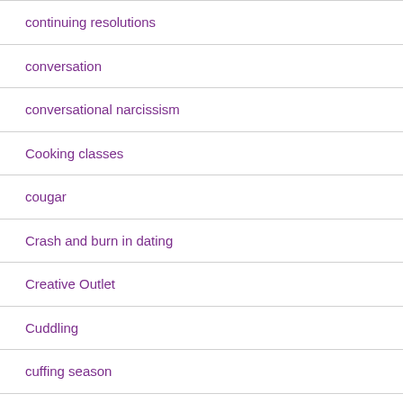continuing resolutions
conversation
conversational narcissism
Cooking classes
cougar
Crash and burn in dating
Creative Outlet
Cuddling
cuffing season
Damn Love